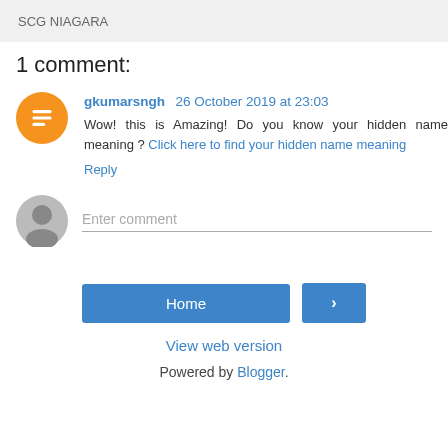SCG NIAGARA
1 comment:
gkumarsngh 26 October 2019 at 23:03
Wow! this is Amazing! Do you know your hidden name meaning ? Click here to find your hidden name meaning
Reply
Enter comment
Home
View web version
Powered by Blogger.